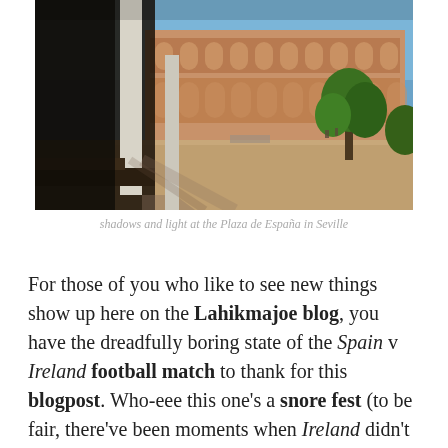[Figure (photo): Photo of the Plaza de España in Seville showing arched colonnade with white columns casting shadows in the foreground, and the grand semicircular building with terracotta arches in the background under a blue sky, with green trees visible on the right.]
shadows and light at the Plaza de España in Seville
For those of you who like to see new things show up here on the Lahikmajoe blog, you have the dreadfully boring state of the Spain v Ireland football match to thank for this blogpost. Who-eee this one's a snore fest (to be fair, there've been moments when Ireland didn't